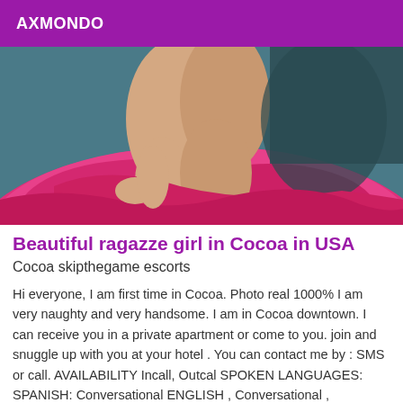AXMONDO
[Figure (photo): Photo of a person on a pink satin bed]
Beautiful ragazze girl in Cocoa in USA
Cocoa skipthegame escorts
Hi everyone, I am first time in Cocoa. Photo real 1000% I am very naughty and very handsome. I am in Cocoa downtown. I can receive you in a private apartment or come to you. join and snuggle up with you at your hotel . You can contact me by : SMS or call. AVAILABILITY Incall, Outcal SPOKEN LANGUAGES: SPANISH: Conversational ENGLISH , Conversational , ITALIANO City: NICE city center SERVICES: CIM (Come in mouth)